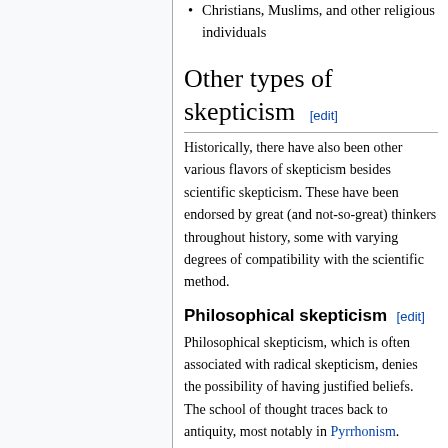Christians, Muslims, and other religious individuals
Other types of skepticism [edit]
Historically, there have also been other various flavors of skepticism besides scientific skepticism. These have been endorsed by great (and not-so-great) thinkers throughout history, some with varying degrees of compatibility with the scientific method.
Philosophical skepticism [edit]
Philosophical skepticism, which is often associated with radical skepticism, denies the possibility of having justified beliefs. The school of thought traces back to antiquity, most notably in Pyrrhonism. Pyrrho of Elis, the school's